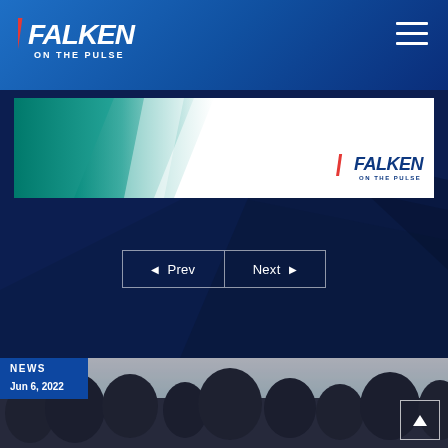FALKEN ON THE PULSE
[Figure (screenshot): Falken On The Pulse website screenshot showing a slide banner with teal/white background and Falken logo, plus Prev/Next navigation buttons on dark navy background]
◄  Prev
Next  ►
NEWS
Jun 6, 2022
[Figure (photo): Blurred photo of trees silhouetted against a dusk/twilight sky]